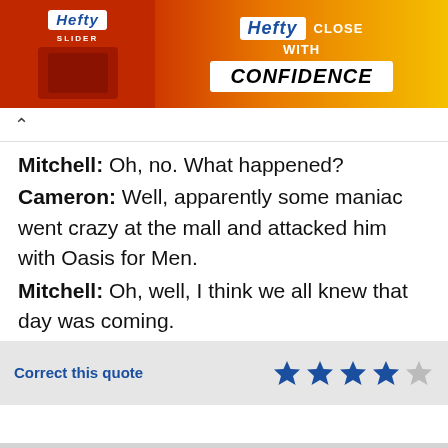[Figure (photo): Hefty Slider Bags advertisement banner with red and yellow background, showing Hefty logo and 'CLOSE WITH CONFIDENCE' text]
Mitchell: Oh, no. What happened?
Cameron: Well, apparently some maniac went crazy at the mall and attacked him with Oasis for Men.
Mitchell: Oh, well, I think we all knew that day was coming.
Correct this quote
[Figure (infographic): 4 out of 5 filled blue stars rating]
Quote from Jay